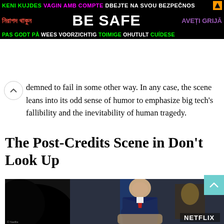[Figure (infographic): Multilingual 'Be Safe' ad banner with colorful text in multiple languages on black background]
demned to fail in some other way. In any case, the scene leans into its odd sense of humor to emphasize big tech's fallibility and the inevitability of human tragedy.
The Post-Credits Scene in Don't Look Up
[Figure (photo): Movie still from Don't Look Up showing a man in a blue suit with red tie sitting in what appears to be an official room with blue flags, with a Netflix watermark in the lower right corner.]